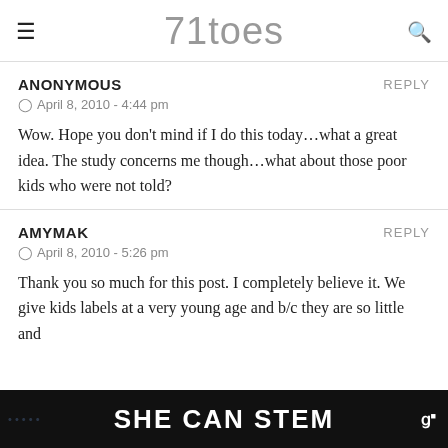71toes
ANONYMOUS
APRIL 8, 2010 - 4:44 pm

Wow. Hope you don't mind if I do this today…what a great idea. The study concerns me though…what about those poor kids who were not told?
AMYMAK
APRIL 8, 2010 - 5:26 pm

Thank you so much for this post. I completely believe it. We give kids labels at a very young age and b/c they are so little and...
[Figure (other): Ad banner at bottom of screen reading SHE CAN STEM with dark background and Walmart logo]